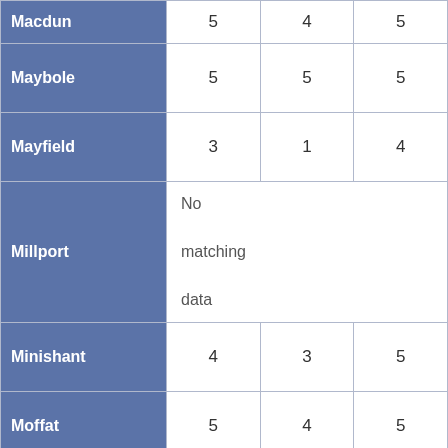| Location | Col1 | Col2 | Col3 |
| --- | --- | --- | --- |
| Macdun | 5 | 4 | 5 |
| Maybole | 5 | 5 | 5 |
| Mayfield | 3 | 1 | 4 |
| Millport | No matching data |  |  |
| Minishant | 4 | 3 | 5 |
| Moffat | 5 | 4 | 5 |
| Motherwell | 1 | 1 | 1 |
| North Queensferry | 2 | 3 | 1 |
| Northmavine | 5 | 5 | 4 |
| Oban | No matching data (partial) |  |  |